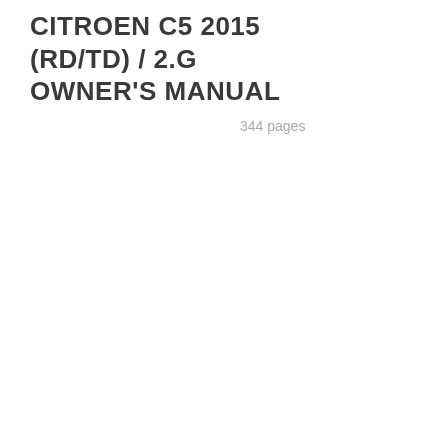CITROEN C5 2015 (RD/TD) / 2.G OWNER'S MANUAL
344 pages